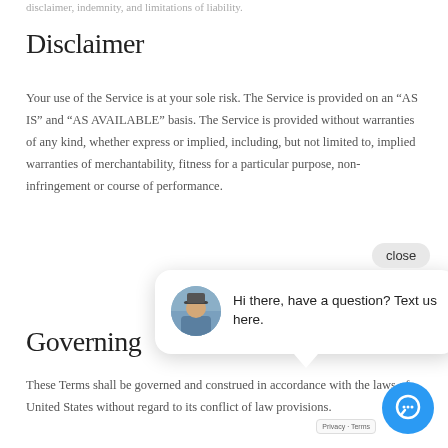disclaimer, indemnity, and limitations of liability.
Disclaimer
Your use of the Service is at your sole risk. The Service is provided on an “AS IS” and “AS AVAILABLE” basis. The Service is provided without warranties of any kind, whether express or implied, including, but not limited to, implied warranties of merchantability, fitness for a particular purpose, non-infringement or course of performance.
Governing
These Terms shall be governed and construed in accordance with the laws of United States without regard to its conflict of law provisions.
[Figure (screenshot): Chat popup widget with avatar photo, message 'Hi there, have a question? Text us here.', a close button, and a blue chat icon circle at bottom right.]